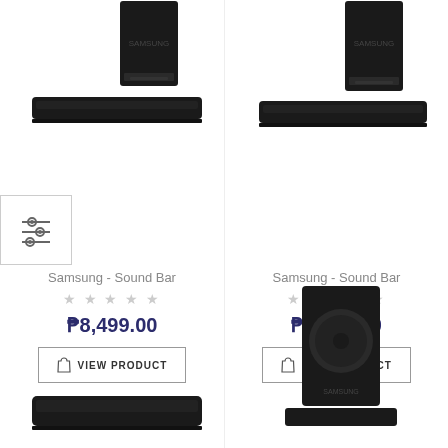[Figure (photo): Samsung Sound Bar product image with subwoofer and sound bar - left column top]
[Figure (photo): Filter/equalizer icon with sliders in bordered box]
Samsung - Sound Bar
★★★★★ (empty stars)
₱8,499.00
VIEW PRODUCT
[Figure (photo): Samsung Sound Bar product image with subwoofer and sound bar - right column top]
Samsung - Sound Bar
★★★★★ (empty stars)
₱7,999.00
VIEW PRODUCT
[Figure (photo): Samsung Sound Bar standalone image - left column bottom]
[Figure (photo): Samsung subwoofer and sound bar - right column bottom]